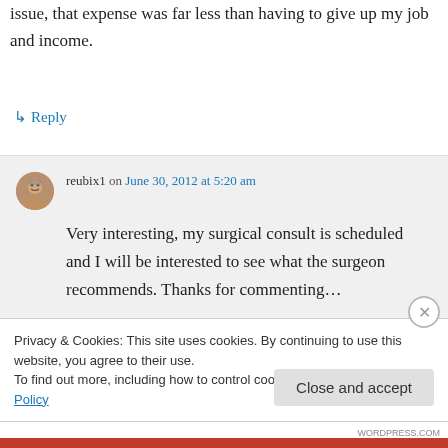issue, that expense was far less than having to give up my job and income.
↳ Reply
reubix1 on June 30, 2012 at 5:20 am
Very interesting, my surgical consult is scheduled and I will be interested to see what the surgeon recommends. Thanks for commenting…
Privacy & Cookies: This site uses cookies. By continuing to use this website, you agree to their use.
To find out more, including how to control cookies, see here: Cookie Policy
Close and accept